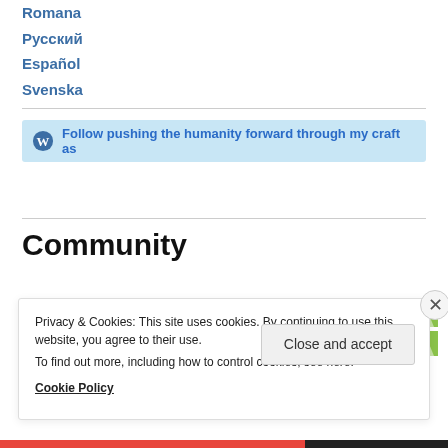Romana
Русский
Español
Svenska
Follow pushing the humanity forward through my craft as
Community
[Figure (photo): Row of community member avatar images/icons]
Privacy & Cookies: This site uses cookies. By continuing to use this website, you agree to their use.
To find out more, including how to control cookies, see here:
Cookie Policy
Close and accept